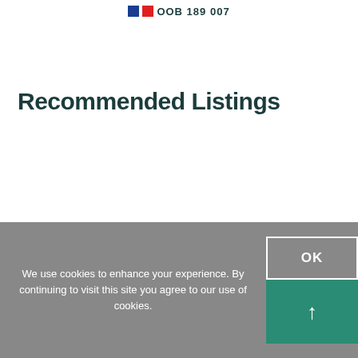OOB 189 007
Recommended Listings
We use cookies to enhance your experience. By continuing to visit this site you agree to our use of cookies.
OK